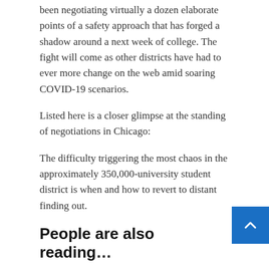been negotiating virtually a dozen elaborate points of a safety approach that has forged a shadow around a next week of college. The fight will come as other districts have had to ever more change on the web amid soaring COVID-19 scenarios.
Listed here is a closer glimpse at the standing of negotiations in Chicago:
The difficulty triggering the most chaos in the approximately 350,000-university student district is when and how to revert to distant finding out.
People are also reading…
The Chicago Academics Union wants the means to s to districtwide remote instruction and presented a bar for closing particular person schools. Their proposed metrics are comparable to last year's safety agreement